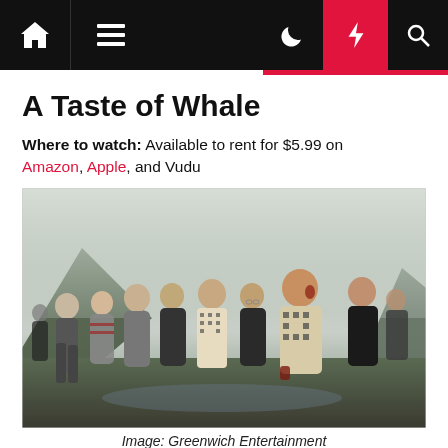Navigation bar with home, menu, moon, lightning, and search icons
A Taste of Whale
Where to watch: Available to rent for $5.99 on Amazon, Apple, and Vudu
[Figure (photo): Group of people standing outdoors on rocky terrain with misty mountains in the background; several men in jackets and patterned sweaters, one with blood on his hands and face, appear to be at a whale hunt scene.]
Image: Greenwich Entertainment